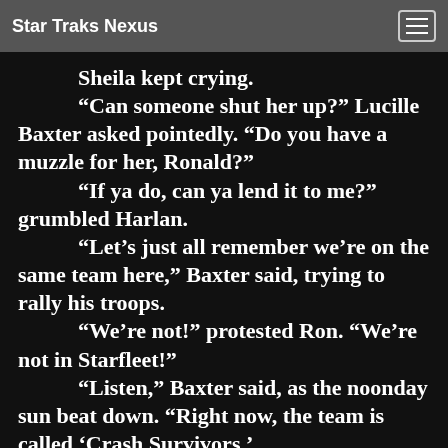Star Traks Nexus
Sheila kept crying. “Can someone shut her up?” Lucille Baxter asked pointedly. “Do you have a muzzle for her, Ronald?” “If ya do, can ya lend it to me?” grumbled Harlan. “Let’s just all remember we’re on the same team here,” Baxter said, trying to rally his troops. “We’re not!” protested Ron. “We’re not in Starfleet!” “Listen,” Baxter said, as the noonday sun beat down. “Right now, the team is called ‘Crash Survivors,’